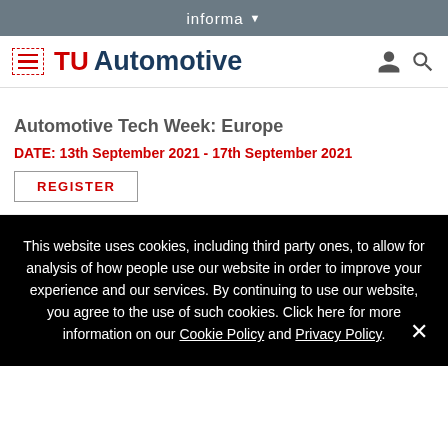informa ▼
[Figure (logo): TU Automotive logo with hamburger menu, person icon, and search icon in site header]
Automotive Tech Week: Europe
DATE: 13th September 2021 - 17th September 2021
REGISTER
This website uses cookies, including third party ones, to allow for analysis of how people use our website in order to improve your experience and our services. By continuing to use our website, you agree to the use of such cookies. Click here for more information on our Cookie Policy and Privacy Policy.